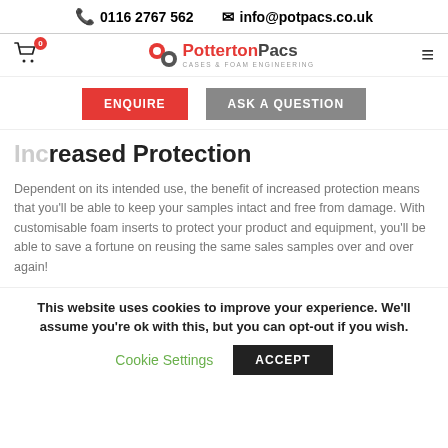📞 0116 2767 562   ✉ info@potpacs.co.uk
[Figure (logo): Potterton Pacs logo with cart icon (0), hamburger menu]
ENQUIRE   ASK A QUESTION
Increased Protection
Dependent on its intended use, the benefit of increased protection means that you'll be able to keep your samples intact and free from damage. With customisable foam inserts to protect your product and equipment, you'll be able to save a fortune on reusing the same sales samples over and over again!
This website uses cookies to improve your experience. We'll assume you're ok with this, but you can opt-out if you wish. Cookie Settings  ACCEPT